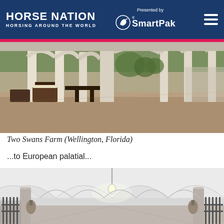HORSE NATION — HORSING AROUND THE WORLD | Presented by SmartPak
[Figure (photo): Wide panoramic view of Two Swans Farm in Wellington, Florida — an elegant covered outdoor corridor with white arched columns, brick paving, dark wood furniture including chairs and benches, and lush greenery in the background.]
Two Swans Farm (Wellington, Florida)
...to European palatial...
[Figure (photo): Interior of a European-style palatial stable with vaulted white ceilings, arched bays, ornate ironwork stall fronts, marble columns, and a hanging pendant light illuminating the long corridor.]